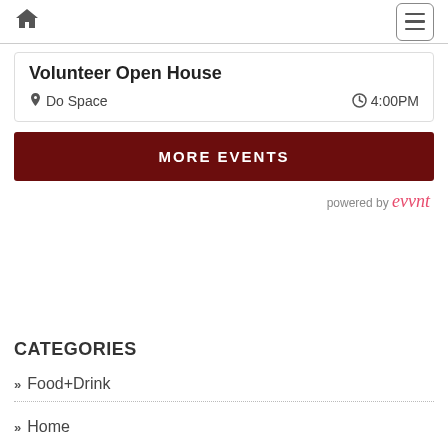Home | Menu
Volunteer Open House
Do Space  4:00PM
MORE EVENTS
powered by evvnt
CATEGORIES
Food+Drink
Home